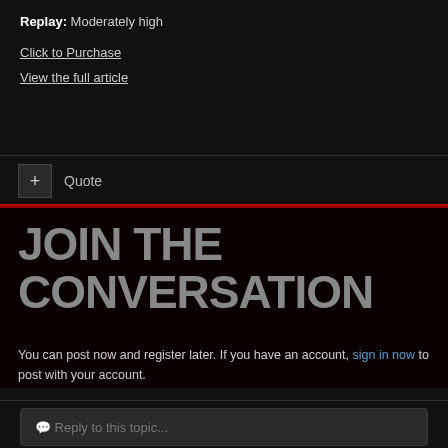Replay: Moderately high
Click to Purchase
View the full article
Quote
JOIN THE CONVERSATION
You can post now and register later. If you have an account, sign in now to post with your account.
Reply to this topic...